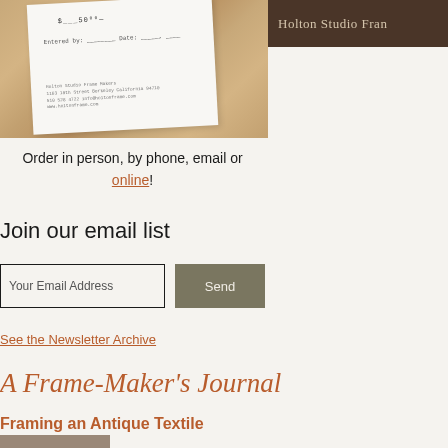[Figure (photo): Photo of paper receipts or order forms on a wooden surface, partially showing handwritten amounts and printed text including Holton Studio Framing address details]
Holton Studio Fran
Order in person, by phone, email or online!
Join our email list
Your Email Address
Send
See the Newsletter Archive
A Frame-Maker's Journal
Framing an Antique Textile